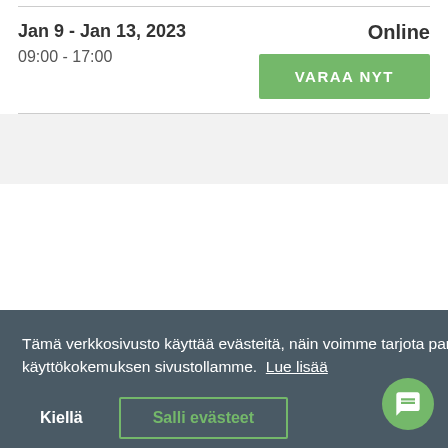Jan 9 - Jan 13, 2023
09:00 - 17:00
Online
VARAA NYT
Tämä verkkosivusto käyttää evästeitä, näin voimme tarjota parhaan käyttökokemuksen sivustollamme. Lue lisää
Kiellä
Salli evästeet
Hinta pyydettäessa